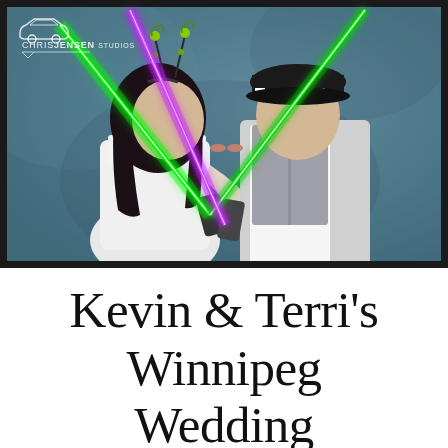[Figure (photo): Wedding photo booth image of a couple kissing. The bride wears a white strapless dress and has alien/novelty antennae headband. The groom wears a white shirt, gray vest, and a checkered police-style cap. They hold toy lightsabers (green and purple/pink) that cross in an X shape. Background is a blue/teal textured wall. A watermark logo reading 'CHRIS JENSEN STUDIOS' appears in the top-left corner.]
Kevin & Terri's Winnipeg Wedding